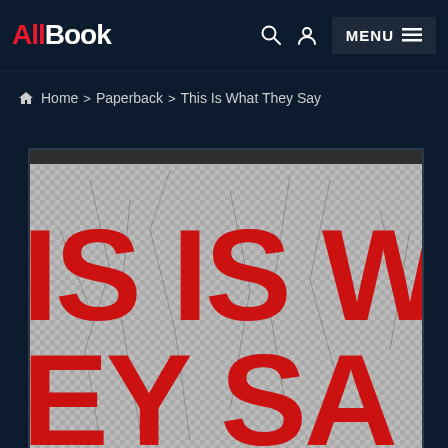AllBook
Home > Paperback > This Is What They Say
[Figure (photo): Close-up of a book cover showing large bold red text 'IS IS WH' on a gray checkered/cracked texture background, with partial text at bottom. The book is 'This Is What They Say'.]